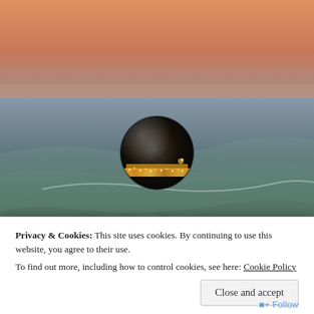[Figure (photo): Beach/ocean sunset scene with a glass sphere reflecting a city skyline with lights, serving as a blog header image for 'AB's Reflections']
AB's Reflections
Geeky thoughts on a variety of topics
Privacy & Cookies: This site uses cookies. By continuing to use this website, you agree to their use.
To find out more, including how to control cookies, see here: Cookie Policy
Close and accept